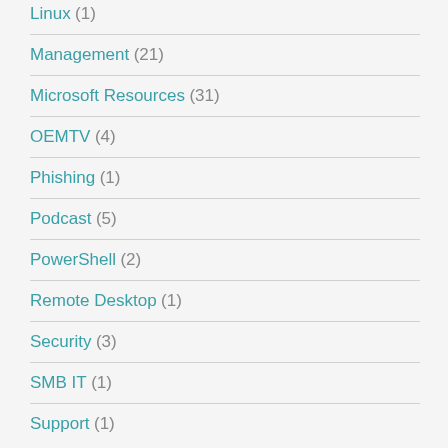Linux (1)
Management (21)
Microsoft Resources (31)
OEMTV (4)
Phishing (1)
Podcast (5)
PowerShell (2)
Remote Desktop (1)
Security (3)
SMB IT (1)
Support (1)